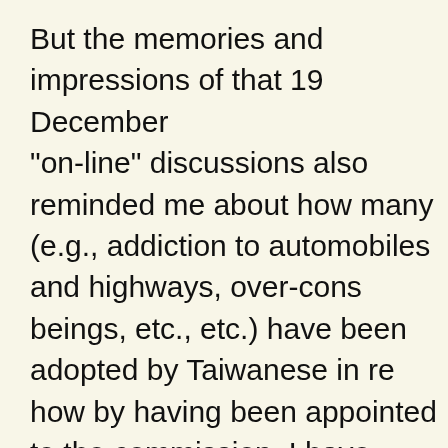But the memories and impressions of that 19 December "on-line" discussions also reminded me about how many (e.g., addiction to automobiles and highways, over-cons beings, etc., etc.) have been adopted by Taiwanese in re how by having been appointed to the commission, I have negative trends.
These thoughts made me change my mind. I decided no Christmas and New Year holidays.
Someone had sent me the blog that allegedly had the m environmental impact assessment process. The EPA, by group of appointees (our terms began in late August 200 we have impeded the "efficiency" of the process by ques haven't been raised during the 20 or so years of environ blog entry attributed to the EPA official emanated pleasu was a successful meeting. There was also a comment o